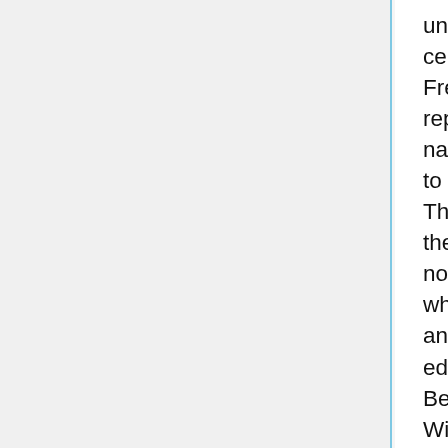unlikely that the Chinese government will change its censorship policies after reading one of these reports. Freedom House instead hopes the content of the reports will shape Western perceptions about the nations on which it reports and brings issues related to global freedom to the forefront of public debate. This includes influencing lawmakers and the views of the public. (In this way, are Freedom House reports norm-based policy tools? It is difficult to decide to which, if any, of the Lessig categories these reports and other circulation of information for persuasive or educational purposes (such as the reports of the Berkman Center or the document releases of Wikileaks). Are there implications if a tool falls into one category rather than another?) If the